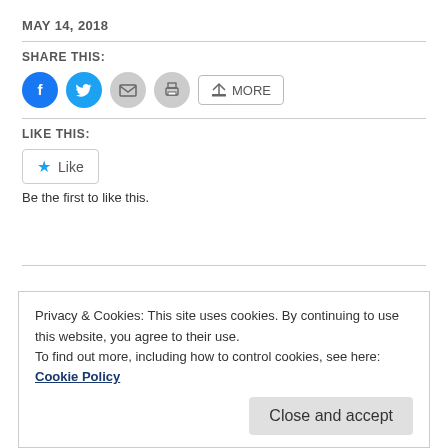MAY 14, 2018
SHARE THIS:
[Figure (infographic): Social share buttons: Facebook (blue circle), Twitter (cyan circle), Email (grey circle), Print (grey circle), and a More button]
LIKE THIS:
[Figure (infographic): Like button with star icon]
Be the first to like this.
Privacy & Cookies: This site uses cookies. By continuing to use this website, you agree to their use. To find out more, including how to control cookies, see here: Cookie Policy
Close and accept